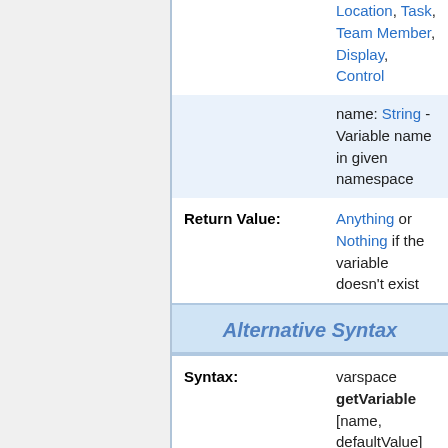|  | Location, Task, Team Member, Display, Control |
|  | name: String - Variable name in given namespace |
| Return Value: | Anything or Nothing if the variable doesn't exist |
Alternative Syntax
| Syntax: | varspace getVariable [name, defaultValue] |
| Parameters: | varspace: Namespace, Object, Display, Control, Group, |